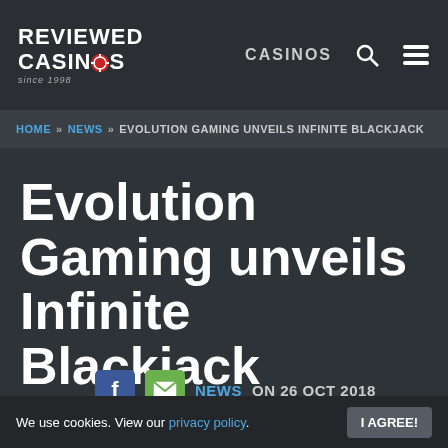Reviewed Casinos since 1998 | CASINOS
HOME » NEWS » EVOLUTION GAMING UNVEILS INFINITE BLACKJACK
Evolution Gaming unveils Infinite Blackjack
NEWS ON 26 OCT 2018
Live...
We use cookies. View our privacy policy. I AGREE!